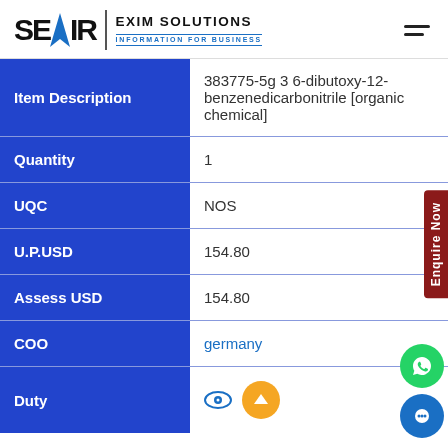[Figure (logo): SEAIR Exim Solutions logo with blue arrow/triangle, company name and tagline 'INFORMATION FOR BUSINESS']
| Field | Value |
| --- | --- |
| Item Description | 383775-5g 3 6-dibutoxy-12-benzenedicarbonitrile [organic chemical] |
| Quantity | 1 |
| UQC | NOS |
| U.P.USD | 154.80 |
| Assess USD | 154.80 |
| COO | germany |
| Duty |  |